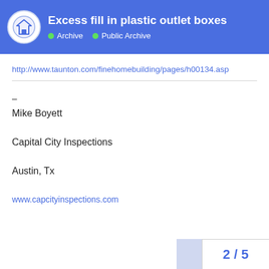Excess fill in plastic outlet boxes | Archive | Public Archive
http://www.taunton.com/finehomebuilding/pages/h00134.asp
–
Mike Boyett
Capital City Inspections
Austin, Tx
www.capcityinspections.com
2 / 5